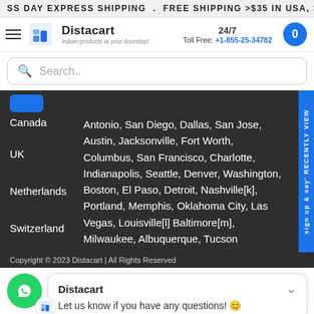SS DAY EXPRESS SHIPPING . FREE SHIPPING >$35 IN USA, >$
[Figure (screenshot): Distacart website header with logo, 24/7 Toll Free phone number +1-855-25-34782, and cart button]
Search..
Antonio, San Diego, Dallas, San Jose, Austin, Jacksonville, Fort Worth, Columbus, San Francisco, Charlotte, Indianapolis, Seattle, Denver, Washington, Boston, El Paso, Detroit, Nashville[k], Portland, Memphis, Oklahoma City, Las Vegas, Louisville[l] Baltimore[m], Milwaukee, Albuquerque, Tucson
Canada
UK
Netherlands
Switzerland
Copyright © 2023 Distacart | All Rights Reserved
Distacart
Let us know if you have any questions! 😊